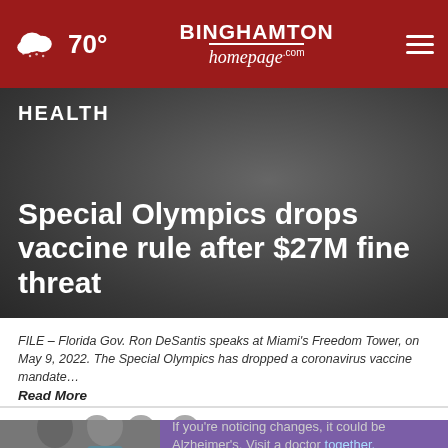70° BINGHAMTON homepage .com
HEALTH
Special Olympics drops vaccine rule after $27M fine threat
FILE – Florida Gov. Ron DeSantis speaks at Miami's Freedom Tower, on May 9, 2022. The Special Olympics has dropped a coronavirus vaccine mandate… Read More
by: ANTHONY IZAGUIRRE, Associated Press
Posted: Jun 3, 2022 / 01:26 PM EDT
Updated: Jun 3, 2022 / 02:12 PM EDT
SHARE
[Figure (photo): Ad showing two men with Alzheimer's awareness message: If you're noticing changes, it could be Alzheimer's. Visit a doctor together.]